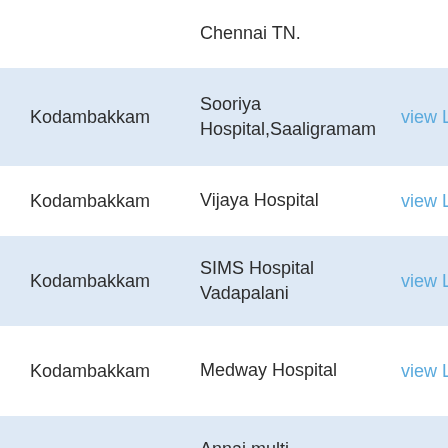| Location | Hospital | Action |
| --- | --- | --- |
|  | Chennai TN. |  |
| Kodambakkam | Sooriya Hospital,Saaligramam | view Location |
| Kodambakkam | Vijaya Hospital | view Location |
| Kodambakkam | SIMS Hospital Vadapalani | view Location |
| Kodambakkam | Medway Hospital | view Location |
|  | Annai multi |  |